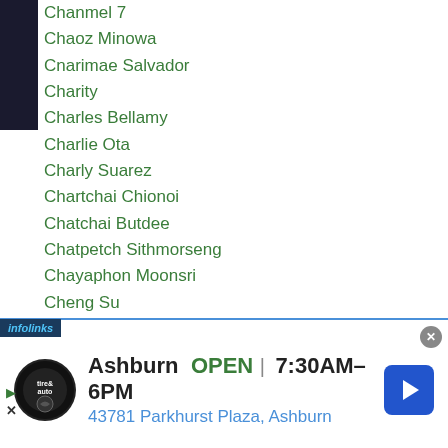Chanmel 7
Chaoz Minowa
Cnarimae Salvador
Charity
Charles Bellamy
Charlie Ota
Charly Suarez
Chartchai Chionoi
Chatchai Butdee
Chatpetch Sithmorseng
Chayaphon Moonsri
Cheng Su
Chia Ching Hung
Chiang Yi Hung
Chie Higano
Chiharu Takasuka
...izutani
[Figure (screenshot): Advertisement banner for Tire Auto shop in Ashburn: OPEN 7:30AM-6PM, 43781 Parkhurst Plaza, Ashburn, with navigation arrow and infolinks badge]